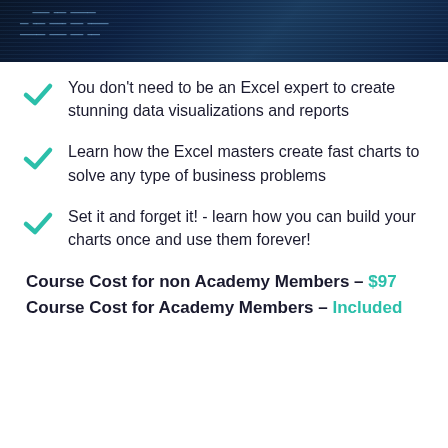[Figure (photo): Dark blue header image with spreadsheet/data visualization background, appears to show Excel or data grid]
You don't need to be an Excel expert to create stunning data visualizations and reports
Learn how the Excel masters create fast charts to solve any type of business problems
Set it and forget it! - learn how you can build your charts once and use them forever!
Course Cost for non Academy Members – $97
Course Cost for Academy Members – Included